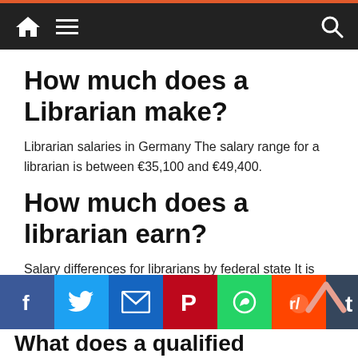Navigation bar with home, menu, and search icons
How much does a Librarian make?
Librarian salaries in Germany The salary range for a librarian is between €35,100 and €49,400.
How much does a librarian earn?
Salary differences for librarians by federal state It is different in Hesse and North Rhine-Westphalia, where the salary for a young professional is around 29,000 euros and a qualified librarian can earn up to 65,000 euros a year.
What does a qualified